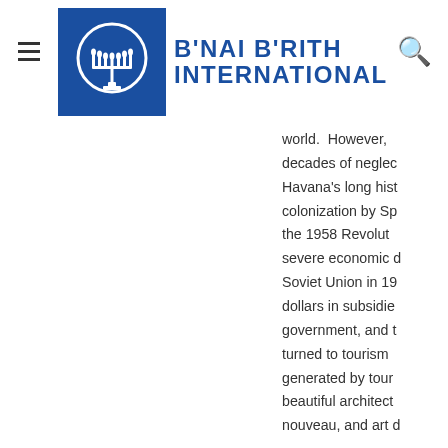B'NAI B'RITH INTERNATIONAL
world. However, decades of neglect, Havana's long history, colonization by Spain, the 1958 Revolution, severe economic crisis, Soviet Union in 1991, dollars in subsidies, government, and turned to tourism, generated by tourism, beautiful architecture, nouveau, and art deco